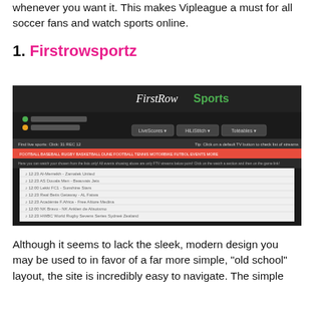whenever you want it. This makes Vipleague a must for all soccer fans and watch sports online.
1. Firstrowsportz
[Figure (screenshot): Screenshot of the FirstRowSports website showing a dark-themed sports streaming interface with a list of live sports events including football matches, with navigation tabs and LiveScores, HiLiStitch, Toteéables dropdowns.]
Although it seems to lack the sleek, modern design you may be used to in favor of a far more simple, “old school” layout, the site is incredibly easy to navigate. The simple